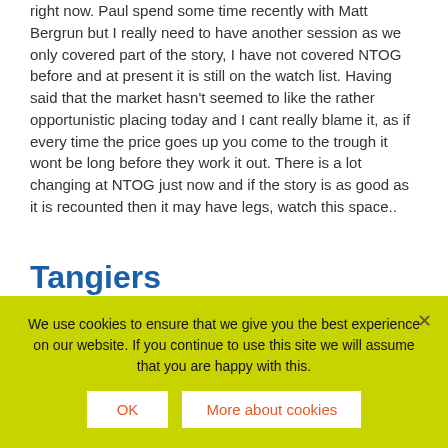right now. Paul spend some time recently with Matt Bergrun but I really need to have another session as we only covered part of the story, I have not covered NTOG before and at present it is still on the watch list. Having said that the market hasn't seemed to like the rather opportunistic placing today and I cant really blame it, as if every time the price goes up you come to the trough it wont be long before they work it out. There is a lot changing at NTOG just now and if the story is as good as it is recounted then it may have legs, watch this space..
Tangiers
As I write the shares are only down 70% having been much worse at the opening, don't say you haven't been warned.
We use cookies to ensure that we give you the best experience on our website. If you continue to use this site we will assume that you are happy with this.